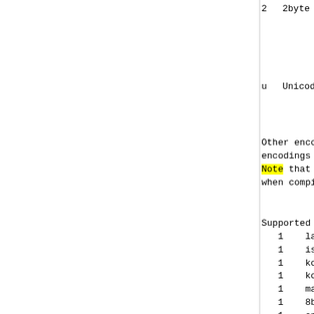|  | 2byte | Double-byte enc...
Mostly used in A...
The number of s...
(except for euc... |
| --- | --- | --- |
| 2 | 2byte | Double-byte enc...
Mostly used in A...
The number of s...
(except for euc... |
| u | Unicode | Universal encod...
Millions of dif...
relation betwee... |
Other encodings cannot be used b...
encodings can be edited by using...
Note that all encodings must use...
when compiled for EBCDIC).
Supported 'encoding' values are
1    latin1      8-bit characters
1    iso-8859-n  ISO_8859 variant
1    koi8-r      Russian
1    koi8-u      Ukrainian
1    macroman    MacRoman (Macin...
1    8bit-{name} any 8-bit encod...
1    cp437       similar to iso-8...
1    cp737       similar to iso-8...
1    cp775       Baltic
1    cp850       similar to iso-8...
1    cp852       similar to iso-8...
1    cp855       similar to iso-8...